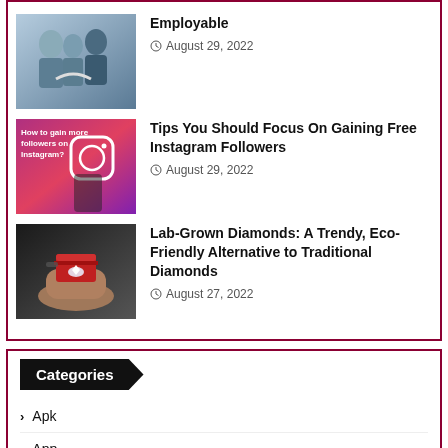Employable
August 29, 2022
[Figure (photo): People shaking hands at a business meeting]
Tips You Should Focus On Gaining Free Instagram Followers
August 29, 2022
[Figure (photo): Instagram app on phone with 'How to gain more followers on Instagram?' overlay]
Lab-Grown Diamonds: A Trendy, Eco-Friendly Alternative to Traditional Diamonds
August 27, 2022
[Figure (photo): Hand holding a red ring box with a diamond ring]
Categories
Apk
App
Automobile
Automotive